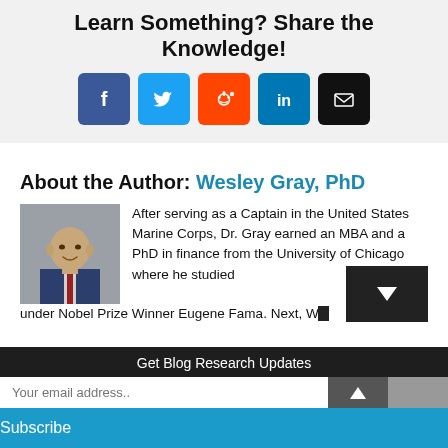Learn Something? Share the Knowledge!
[Figure (infographic): Social share buttons: Facebook (dark blue), Twitter (light blue), Reddit (orange), LinkedIn (blue), Email (black)]
About the Author: Wesley Gray, PhD
[Figure (photo): Photo of Wesley Gray, PhD — a man in a dark suit with a red tie, bald head, against a grey background]
After serving as a Captain in the United States Marine Corps, Dr. Gray earned an MBA and a PhD in finance from the University of Chicago where he studied under Nobel Prize Winner Eugene Fama. Next, W...
Get Blog Research Updates
Your email address..
Subscribe